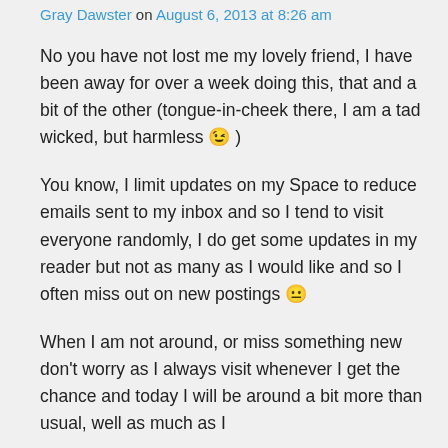Gray Dawster on August 6, 2013 at 8:26 am
No you have not lost me my lovely friend, I have been away for over a week doing this, that and a bit of the other (tongue-in-cheek there, I am a tad wicked, but harmless 😉 )
You know, I limit updates on my Space to reduce emails sent to my inbox and so I tend to visit everyone randomly, I do get some updates in my reader but not as many as I would like and so I often miss out on new postings 😐
When I am not around, or miss something new don't worry as I always visit whenever I get the chance and today I will be around a bit more than usual, well as much as I